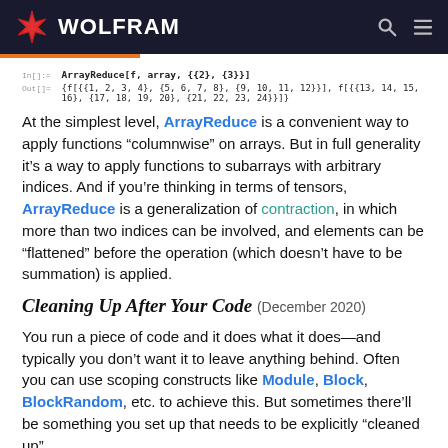WOLFRAM
In[]:= ArrayReduce[f, array, {{2}, {3}}]
Out[]= {f[{{1, 2, 3, 4}, {5, 6, 7, 8}, {9, 10, 11, 12}}], f[{{13, 14, 15, 16}, {17, 18, 19, 20}, {21, 22, 23, 24}}]}
At the simplest level, ArrayReduce is a convenient way to apply functions “columnwise” on arrays. But in full generality it’s a way to apply functions to subarrays with arbitrary indices. And if you’re thinking in terms of tensors, ArrayReduce is a generalization of contraction, in which more than two indices can be involved, and elements can be “flattened” before the operation (which doesn’t have to be summation) is applied.
Cleaning Up After Your Code (December 2020)
You run a piece of code and it does what it does—and typically you don’t want it to leave anything behind. Often you can use scoping constructs like Module, Block, BlockRandom, etc. to achieve this. But sometimes there’ll be something you set up that needs to be explicitly “cleaned up” when you’re finished.